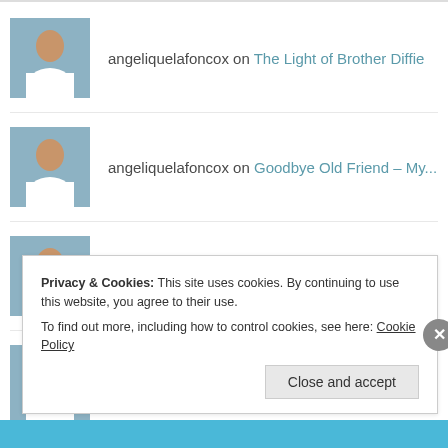angeliquelafoncox on The Light of Brother Diffie
angeliquelafoncox on Goodbye Old Friend – My...
angeliquelafoncox on Goodbye Old Friend – My...
angeliquelafoncox on The Last Twenty Dollars...
Privacy & Cookies: This site uses cookies. By continuing to use this website, you agree to their use.
To find out more, including how to control cookies, see here: Cookie Policy
Close and accept